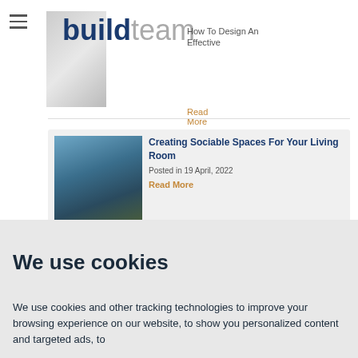[Figure (logo): BuildTeam logo with bold dark blue 'build' and grey 'team' text]
How To Design An Effective
Read More
[Figure (photo): Photo of modern living room/outdoor dining area with dark frame window]
Creating Sociable Spaces For Your Living Room
Posted in 19 April, 2022
Read More
[Figure (photo): Photo of staircase area]
How To Utilise Space Under
We use cookies
We use cookies and other tracking technologies to improve your browsing experience on our website, to show you personalized content and targeted ads, to